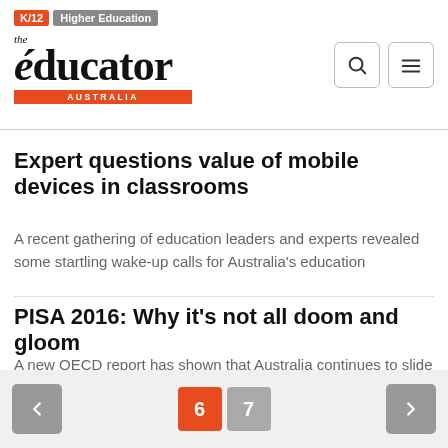K/12 | Higher Education — the educator AUSTRALIA
Expert questions value of mobile devices in classrooms
A recent gathering of education leaders and experts revealed some startling wake-up calls for Australia's education
PISA 2016: Why it's not all doom and gloom
A new OECD report has shown that Australia continues to slide in maths, reading and science, but some forward-
< 6 7 >